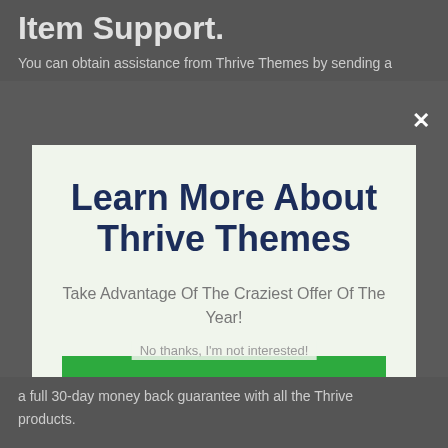Item Support.
You can obtain assistance from Thrive Themes by sending a
[Figure (screenshot): Modal popup overlay with light green background. Contains heading 'Learn More About Thrive Themes', subtitle 'Take Advantage Of The Craziest Offer Of The Year!', a green button 'CHECK OUT THE OFFICIAL THRIVE SITE HERE', and a close (×) button at top right.]
No thanks, I'm not interested!
a full 30-day money back guarantee with all the Thrive products.